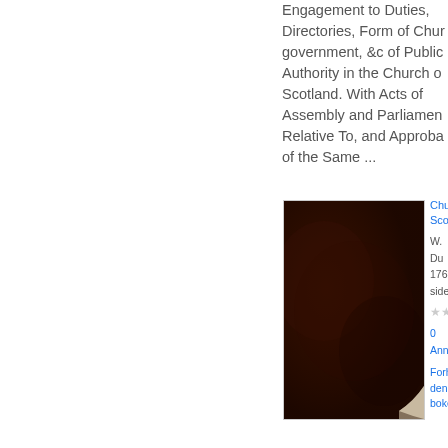Engagement to Duties, Directories, Form of Church government, &c of Public Authority in the Church of Scotland. With Acts of Assembly and Parliament Relative To, and Approbation of the Same ...
[Figure (photo): Dark brown aged book cover, old leather bound book with yellowed page corner visible at bottom right]
Church of Scotland
W. Du...
1768
sider...
★★★
0 Ann...
Forhå... denn... boke...